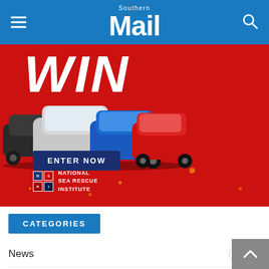Southern Mail
[Figure (photo): Advertisement banner with red background showing three Mitsubishi SUVs (silver, blue, red) with large white 'WIN' text, 'ENTER NOW' navy button, and National Sea Rescue Institute logo.]
CATEGORIES
News 3618
Entertainment 715
Sport 311